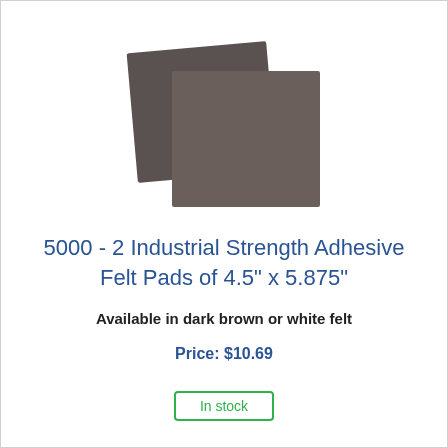[Figure (photo): Two dark brown square felt pads overlapping each other, viewed from above at a slight angle.]
5000 - 2 Industrial Strength Adhesive Felt Pads of 4.5" x 5.875"
Available in dark brown or white felt
Price: $10.69
In stock